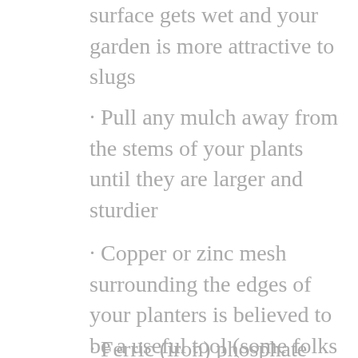surface gets wet and your garden is more attractive to slugs
· Pull any mulch away from the stems of your plants until they are larger and sturdier
· Copper or zinc mesh surrounding the edges of your planters is believed to be a useful tool (some folks don't think this works). If you do use this method, make sure your bed is free from slugs and slug eggs first!
· Ferric (iron) phosphate slug baits are